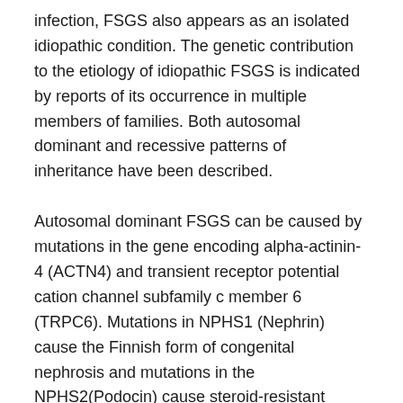infection, FSGS also appears as an isolated idiopathic condition. The genetic contribution to the etiology of idiopathic FSGS is indicated by reports of its occurrence in multiple members of families. Both autosomal dominant and recessive patterns of inheritance have been described.
Autosomal dominant FSGS can be caused by mutations in the gene encoding alpha-actinin-4 (ACTN4) and transient receptor potential cation channel subfamily c member 6 (TRPC6). Mutations in NPHS1 (Nephrin) cause the Finnish form of congenital nephrosis and mutations in the NPHS2(Podocin) cause steroid-resistant nephrotic syndrome. Both result in a clinical picture of congenital FSGS and are transmitted in recessive fashion. Other